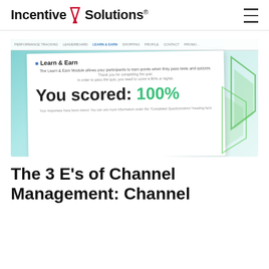Incentive Solutions®
[Figure (screenshot): Screenshot of a Learn & Earn module interface showing 'You scored: 100%' in large text, with green geometric shapes on the right side, and navigation bar at top.]
The 3 E's of Channel Management: Channel